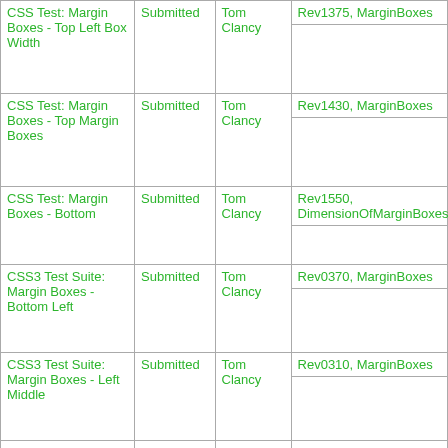|  |  |  |  |
| --- | --- | --- | --- |
| CSS Test: Margin Boxes - Top Left Box Width | Submitted | Tom Clancy | Rev1375, MarginBoxes |
| CSS Test: Margin Boxes - Top Margin Boxes | Submitted | Tom Clancy | Rev1430, MarginBoxes |
| CSS Test: Margin Boxes - Bottom | Submitted | Tom Clancy | Rev1550, DimensionOfMarginBoxesBottomMarginBoxes |
| CSS3 Test Suite: Margin Boxes - Bottom Left | Submitted | Tom Clancy | Rev0370, MarginBoxes |
| CSS3 Test Suite: Margin Boxes - Left Middle | Submitted | Tom Clancy | Rev0310, MarginBoxes |
| CSS Test: Margin | Submitted | Tom | Rev1360, MarginBoxes |